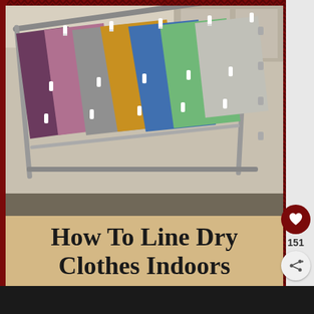[Figure (photo): Colorful towels and clothes hanging on an indoor drying rack with white clothespins. Clothes are arranged in diagonal rows showing purple, mauve, gray, mustard yellow, blue, and green colored items.]
How To Line Dry Clothes Indoors